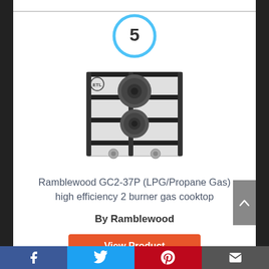[Figure (infographic): Blue circle with number 5 inside, ranking indicator]
[Figure (photo): Ramblewood GC2-37P stainless steel 2 burner gas cooktop with ETL certification mark]
Ramblewood GC2-37P (LPG/Propane Gas) high efficiency 2 burner gas cooktop
By Ramblewood
View Product